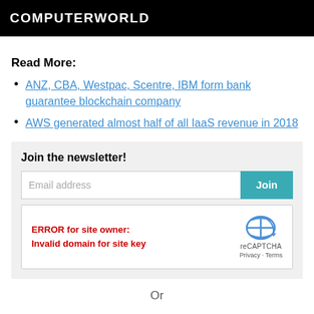COMPUTERWORLD
Read More:
ANZ, CBA, Westpac, Scentre, IBM form bank guarantee blockchain company
AWS generated almost half of all IaaS revenue in 2018
Join the newsletter!
Email address / Join button
ERROR for site owner: Invalid domain for site key
reCAPTCHA Privacy - Terms
Or